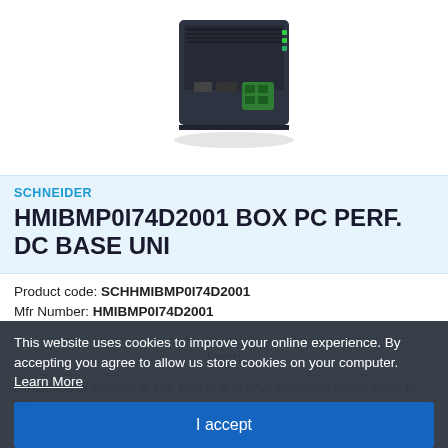[Figure (photo): Schneider Electric HMIBMP0I74D2001 Box PC industrial hardware unit, dark colored box with green connector, photographed on white background]
SCHNEIDER
HMIBMP0I74D2001 BOX PC PERF. DC BASE UNI
Product code: SCHHMIBMP0I74D2001
Mfr Number: HMIBMP0I74D2001
Login
Please log or register to see pricing and what discounts might apply to you
This website uses cookies to improve your online experience. By accepting you agree to allow us store cookies on your computer. Learn More
I accept